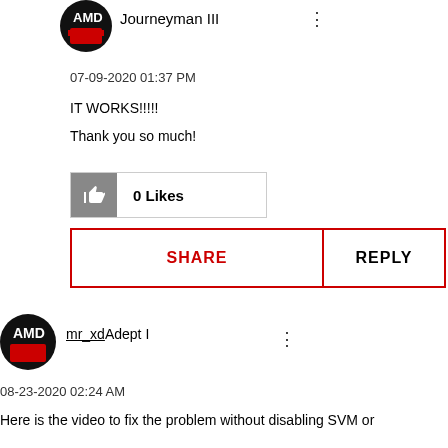[Figure (photo): AMD circular avatar logo for user Journeyman III]
Journeyman III
07-09-2020 01:37 PM
IT WORKS!!!!!
Thank you so much!
[Figure (other): 0 Likes button with thumbs up icon]
[Figure (other): SHARE and REPLY action buttons]
[Figure (photo): AMD circular avatar logo for user mr_xd]
mr_xdAdept I
08-23-2020 02:24 AM
Here is the video to fix the problem without disabling SVM or